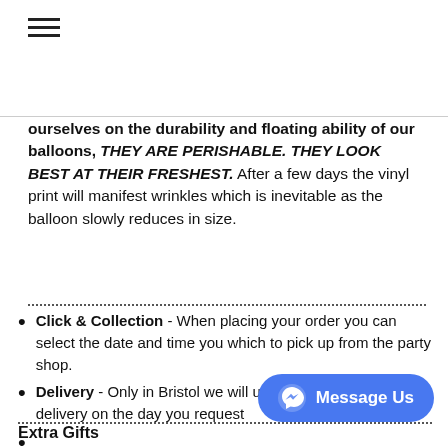[Figure (other): Hamburger menu icon (three horizontal lines)]
ourselves on the durability and floating ability of our balloons, THEY ARE PERISHABLE. THEY LOOK BEST AT THEIR FRESHEST. After a few days the vinyl print will manifest wrinkles which is inevitable as the balloon slowly reduces in size.
Click & Collection - When placing your order you can select the date and time you which to pick up from the party shop.
Delivery - Only in Bristol we will use our own driver we can delivery on the day you request
Extra Gifts
[Figure (other): Facebook Messenger 'Message Us' button (blue rounded rectangle with messenger icon)]